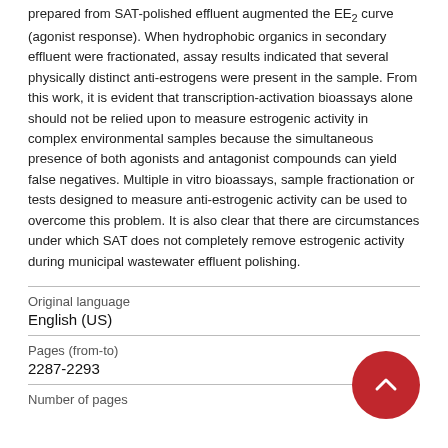prepared from SAT-polished effluent augmented the EE2 curve (agonist response). When hydrophobic organics in secondary effluent were fractionated, assay results indicated that several physically distinct anti-estrogens were present in the sample. From this work, it is evident that transcription-activation bioassays alone should not be relied upon to measure estrogenic activity in complex environmental samples because the simultaneous presence of both agonists and antagonist compounds can yield false negatives. Multiple in vitro bioassays, sample fractionation or tests designed to measure anti-estrogenic activity can be used to overcome this problem. It is also clear that there are circumstances under which SAT does not completely remove estrogenic activity during municipal wastewater effluent polishing.
| Original language |  |
| --- | --- |
| English (US) |  |
| Pages (from-to) |  |
| 2287-2293 |  |
| Number of pages |  |